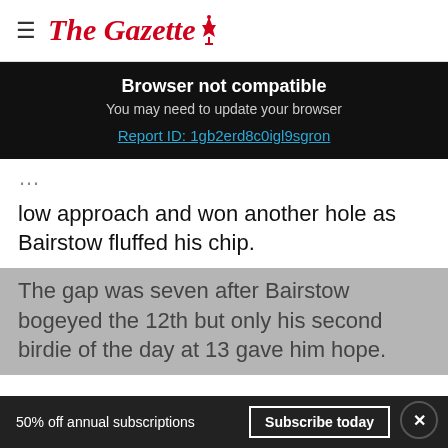The Gazette
Browser not compatible
You may need to update your browser
Report ID: 1gb2erd8c0igl9sgron
low approach and won another hole as Bairstow fluffed his chip.
The gap was seven after Bairstow bogeyed the 12th but only his second birdie of the day at 13 gave him hope.
50% off annual subscriptions  Subscribe today